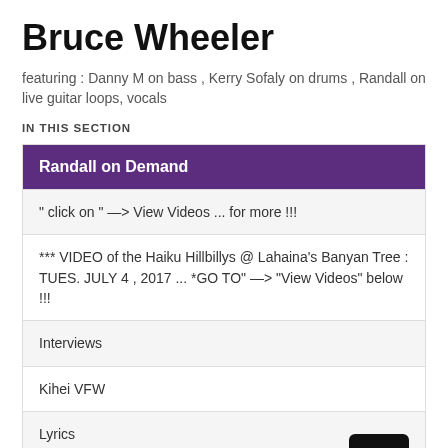Bruce Wheeler
featuring : Danny M on bass , Kerry Sofaly on drums , Randall on live guitar loops, vocals
IN THIS SECTION
Randall on Demand
" click on " —> View Videos ... for more !!!
*** VIDEO of the Haiku Hillbillys @ Lahaina's Banyan Tree : TUES. JULY 4 , 2017 ... *GO TO" —> "View Videos" below !!!
Interviews
Kihei VFW
Lyrics
quickie video by Steve & Julie Craig of "Randall @ SEVA